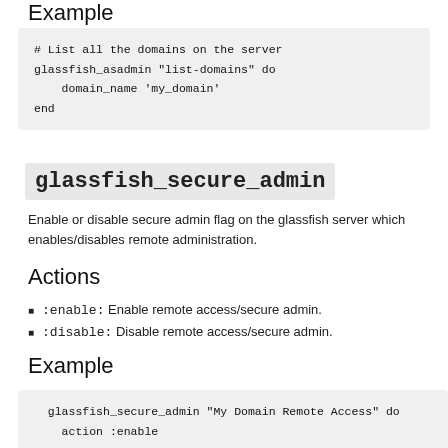Example
# List all the domains on the server
glassfish_asadmin "list-domains" do
    domain_name 'my_domain'
end
glassfish_secure_admin
Enable or disable secure admin flag on the glassfish server which enables/disables remote administration.
Actions
:enable: Enable remote access/secure admin.
:disable: Disable remote access/secure admin.
Example
glassfish_secure_admin "My Domain Remote Access" do
    action :enable